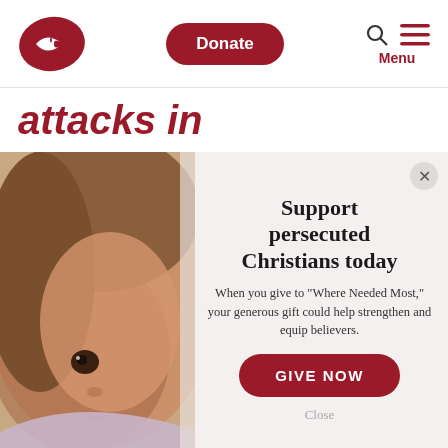[Figure (logo): Open Doors fish/flame logo in dark red]
Donate
Menu
attacks in
[Figure (photo): Close-up portrait of a young girl with brown hair, looking at camera, wearing a light purple turtleneck]
Support persecuted Christians today
When you give to "Where Needed Most," your generous gift could help strengthen and equip believers.
GIVE NOW
Close